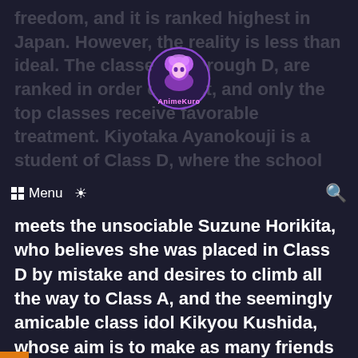freedom, and it is ranked highest in Japan. However, the reality is less than ideal. The classes, A through D, are ranked in order of merit, and only the top classes receive favorable treatment. Kiyotaka Ayanokouji is a student of Class D, where the school dumps its worst. There he
[Figure (logo): AnimeKuro logo — circular badge with anime character illustration in purple tones and 'AnimeKuro' text]
Menu [grid icon] [sun icon] [search icon]
meets the unsociable Suzune Horikita, who believes she was placed in Class D by mistake and desires to climb all the way to Class A, and the seemingly amicable class idol Kikyou Kushida, whose aim is to make as many friends as possible. While class membership is permanent, class rankings are not; students in lower ranked classes can rise in rankings if they score better than those in the top ones. Additionally, in Class D, there are no bars on what methods can be used to get ahead. In this cutthroat school, can they prevail against the odds and reach the top? [Written by MAL Rewrite]